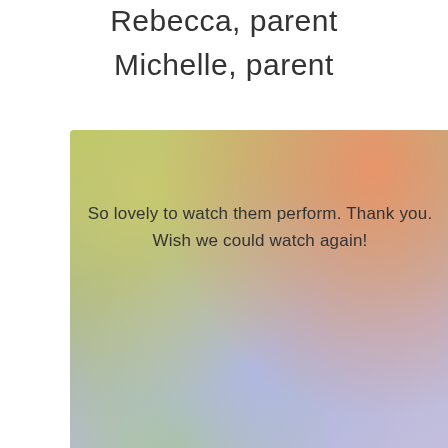Rebecca, parent
Michelle, parent
So lovely to watch them perform. Thank you. Wish we could watch again!
Kerry, parent
They were fantastic at Honeycomb festival! Thank you Holly & Kieran
Kirsty, parent